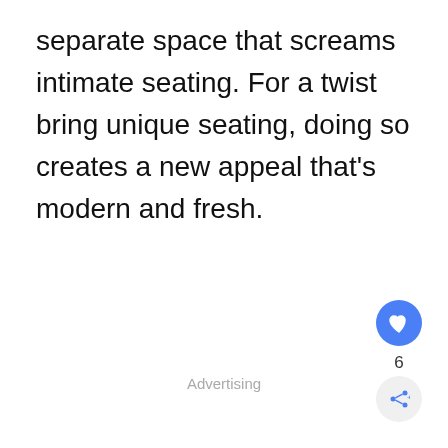separate space that screams intimate seating. For a twist bring unique seating, doing so creates a new appeal that's modern and fresh.
Advertising
[Figure (other): Blue circular like/heart button with heart icon, count of 6 below it, and a share button below that]